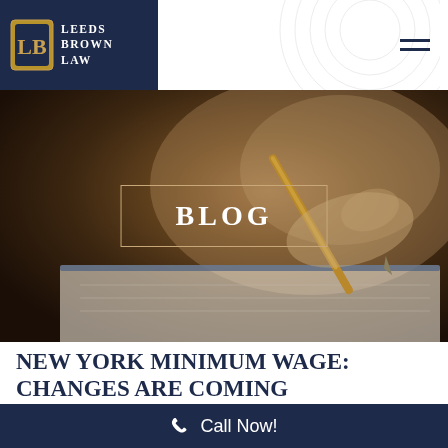Leeds Brown Law
[Figure (photo): A hand holding a gold pen writing in a notebook, dark brown background, close-up shot]
BLOG
NEW YORK MINIMUM WAGE: CHANGES ARE COMING
Call Now!